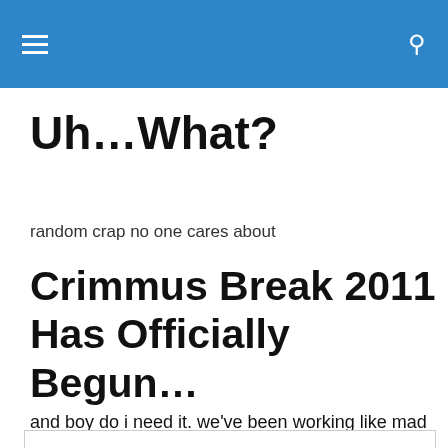Uh…What? [navigation header bar with hamburger menu and search icon]
Uh…What?
random crap no one cares about
Crimmus Break 2011 Has Officially Begun…
and boy do i need it. we've been working like mad all year
Privacy & Cookies: This site uses cookies. By continuing to use this website, you agree to their use.
To find out more, including how to control cookies, see here: Cookie Policy
Close and accept
been able to buy the hardware and software we need in